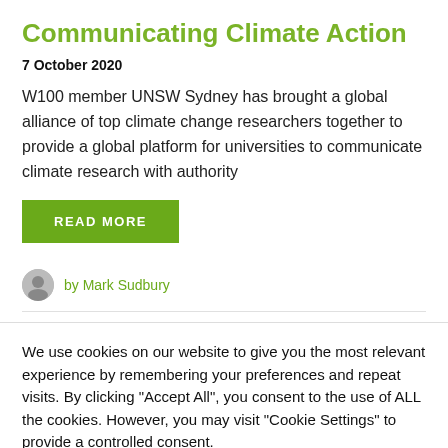Communicating Climate Action
7 October 2020
W100 member UNSW Sydney has brought a global alliance of top climate change researchers together to provide a global platform for universities to communicate climate research with authority
READ MORE
by Mark Sudbury
We use cookies on our website to give you the most relevant experience by remembering your preferences and repeat visits. By clicking "Accept All", you consent to the use of ALL the cookies. However, you may visit "Cookie Settings" to provide a controlled consent.
Cookie Settings
Accept All